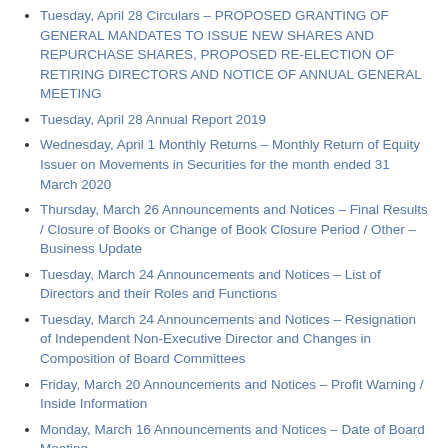Tuesday, April 28 Circulars – PROPOSED GRANTING OF GENERAL MANDATES TO ISSUE NEW SHARES AND REPURCHASE SHARES, PROPOSED RE-ELECTION OF RETIRING DIRECTORS AND NOTICE OF ANNUAL GENERAL MEETING
Tuesday, April 28 Annual Report 2019
Wednesday, April 1 Monthly Returns – Monthly Return of Equity Issuer on Movements in Securities for the month ended 31 March 2020
Thursday, March 26 Announcements and Notices – Final Results / Closure of Books or Change of Book Closure Period / Other – Business Update
Tuesday, March 24 Announcements and Notices – List of Directors and their Roles and Functions
Tuesday, March 24 Announcements and Notices – Resignation of Independent Non-Executive Director and Changes in Composition of Board Committees
Friday, March 20 Announcements and Notices – Profit Warning / Inside Information
Monday, March 16 Announcements and Notices – Date of Board Meeting